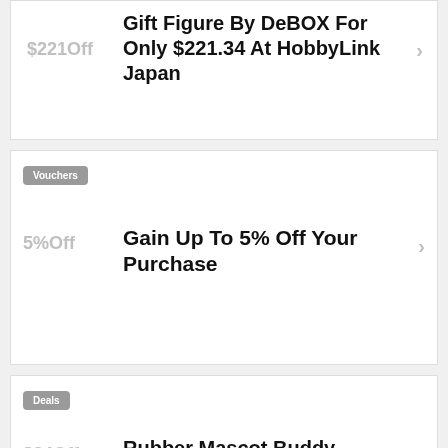$221Off
Gift Figure By DeBOX For Only $221.34 At HobbyLink Japan
Vouchers
5%Off
Gain Up To 5% Off Your Purchase
Deals
$34Off
Rubber Mascot Buddy Colle Haikyu 1Box 6pcs Only For $34.0 At HobbyLink Japan